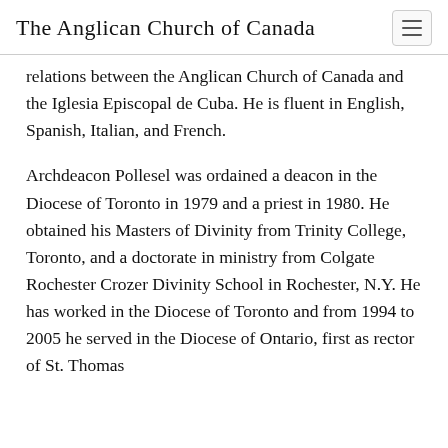The Anglican Church of Canada
relations between the Anglican Church of Canada and the Iglesia Episcopal de Cuba. He is fluent in English, Spanish, Italian, and French.
Archdeacon Pollesel was ordained a deacon in the Diocese of Toronto in 1979 and a priest in 1980. He obtained his Masters of Divinity from Trinity College, Toronto, and a doctorate in ministry from Colgate Rochester Crozer Divinity School in Rochester, N.Y. He has worked in the Diocese of Toronto and from 1994 to 2005 he served in the Diocese of Ontario, first as rector of St. Thomas